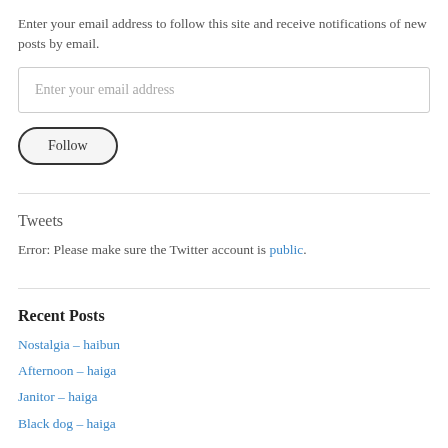Enter your email address to follow this site and receive notifications of new posts by email.
Enter your email address
Follow
Tweets
Error: Please make sure the Twitter account is public.
Recent Posts
Nostalgia – haibun
Afternoon – haiga
Janitor – haiga
Black dog – haiga